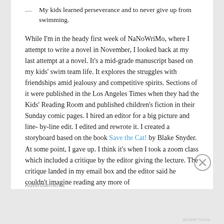My kids learned perseverance and to never give up from swimming.
While I'm in the heady first week of NaNoWriMo, where I attempt to write a novel in November, I looked back at my last attempt at a novel. It's a mid-grade manuscript based on my kids' swim team life. It explores the struggles with friendships amid jealousy and competitive spirits. Sections of it were published in the Los Angeles Times when they had the Kids' Reading Room and published children's fiction in their Sunday comic pages. I hired an editor for a big picture and line- by-line edit. I edited and rewrote it. I created a storyboard based on the book Save the Cat! by Blake Snyder. At some point, I gave up. I think it's when I took a zoom class which included a critique by the editor giving the lecture. The critique landed in my email box and the editor said he couldn't imagine reading any more of
Advertisements